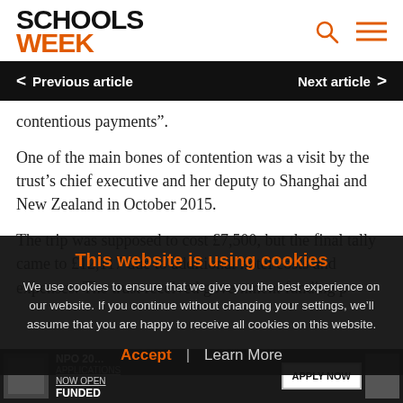SCHOOLS WEEK
Previous article  Next article
contentious payments”.
One of the main bones of contention was a visit by the trust’s chief executive and her deputy to Shanghai and New Zealand in October 2015.
The trip was supposed to cost £7,500, but the final tally came to £12,117 due to additional hotel costs and expenses. The trust received government funding p…
This website is using cookies
We use cookies to ensure that we give you the best experience on our website. If you continue without changing your settings, we’ll assume that you are happy to receive all cookies on this website.
Accept | Learn More